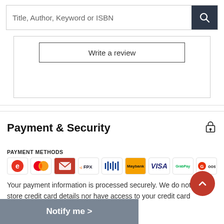Title, Author, Keyword or ISBN
Write a review
Payment & Security
PAYMENT METHODS
[Figure (infographic): Payment method logos: e (red circle), Mastercard, red envelope, FPX, Alliance Bank, Maybank, VISA, GrabPay, Boost]
Your payment information is processed securely. We do not store credit card details nor have access to your credit card
Notify me >